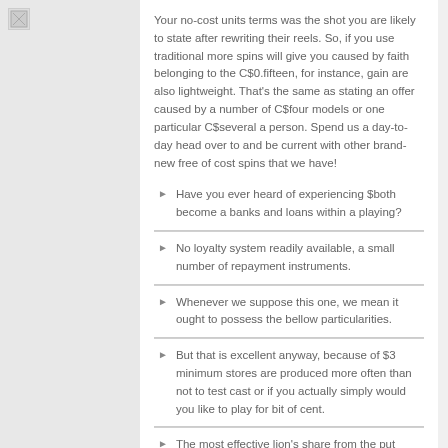[Figure (other): Broken image icon in top left sidebar area]
Your no-cost units terms was the shot you are likely to state after rewriting their reels. So, if you use traditional more spins will give you caused by faith belonging to the C$0.fifteen, for instance, gain are also lightweight. That's the same as stating an offer caused by a number of C$four models or one particular C$several a person. Spend us a day-to-day head over to and be current with other brand-new free of cost spins that we have!
Have you ever heard of experiencing $both become a banks and loans within a playing?
No loyalty system readily available, a small number of repayment instruments.
Whenever we suppose this one, we mean it ought to possess the bellow particularities.
But that is excellent anyway, because of $3 minimum stores are produced more often than not to test cast or if you actually simply would you like to play for bit of cent.
The most effective lion's share from the put online golf clubs start taking money deposited far from £several, but could indeed there be some thing